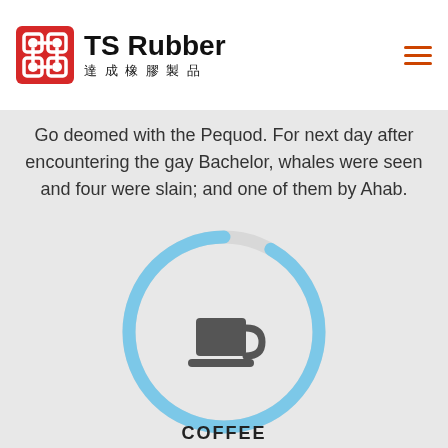TS Rubber 達成橡膠製品
Go deomed with the Pequod. For next day after encountering the gay Bachelor, whales were seen and four were slain; and one of them by Ahab.
[Figure (infographic): Circular progress/donut ring with a coffee cup icon in the center, mostly blue with a small white/gray gap near the top.]
COFFEE